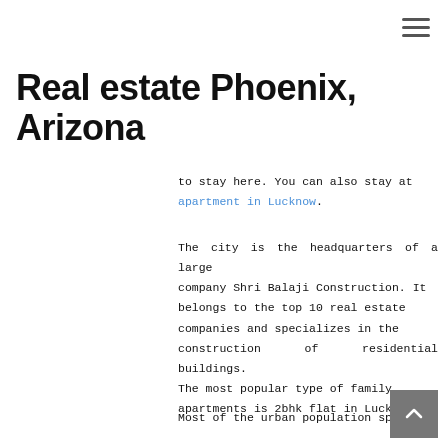Real estate Phoenix, Arizona
to stay here. You can also stay at apartment in Lucknow.
The city is the headquarters of a large company Shri Balaji Construction. It belongs to the top 10 real estate companies and specializes in the construction of residential buildings. The most popular type of family apartments is 2bhk flat in Lucknow.
Most of the urban population speaks